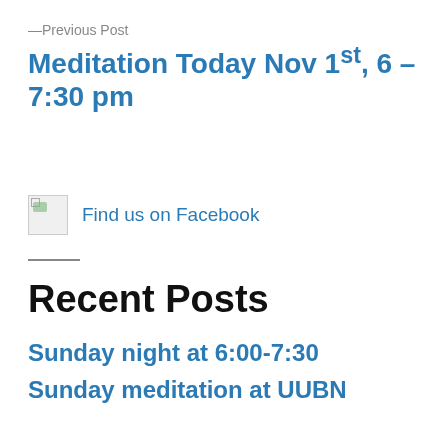—Previous Post
Meditation Today Nov 1st, 6 – 7:30 pm
[Figure (other): Broken image placeholder icon for Facebook link]
Find us on Facebook
Recent Posts
Sunday night at 6:00-7:30
Sunday meditation at UUBN